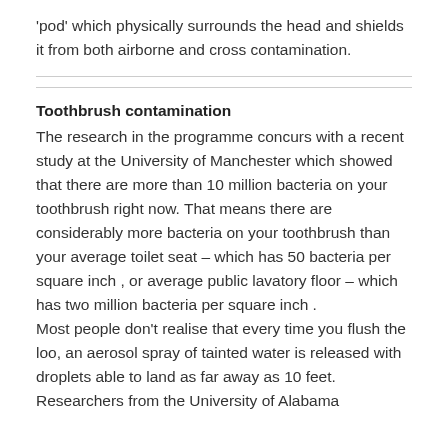'pod' which physically surrounds the head and shields it from both airborne and cross contamination.
Toothbrush contamination
The research in the programme concurs with a recent study at the University of Manchester which showed that there are more than 10 million bacteria on your toothbrush right now. That means there are considerably more bacteria on your toothbrush than your average toilet seat – which has 50 bacteria per square inch , or average public lavatory floor – which has two million bacteria per square inch .
Most people don't realise that every time you flush the loo, an aerosol spray of tainted water is released with droplets able to land as far away as 10 feet. Researchers from the University of Alabama